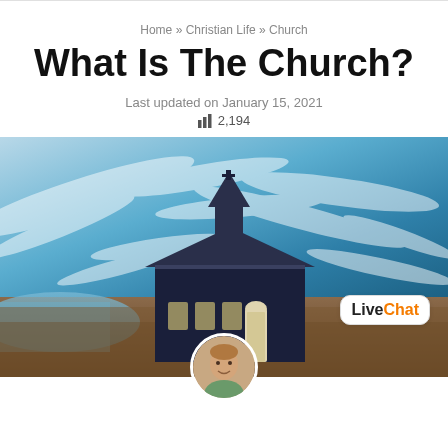Home » Christian Life » Church
What Is The Church?
Last updated on January 15, 2021
2,194
[Figure (photo): A dark navy/black wooden church with a steeple against a dramatic blue and white streaked sky, set on a brown landscape with water visible on the left. A LiveChat badge appears in the lower right corner. A circular author avatar photo appears at the bottom center.]